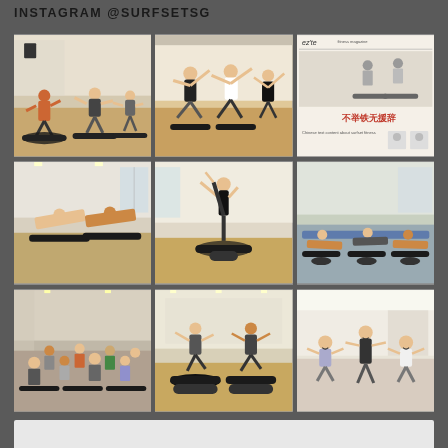INSTAGRAM @SURFSETSG
[Figure (photo): Group fitness class doing surfset exercise on balance boards in a gym studio]
[Figure (photo): Fitness class participants doing lateral stretch exercises on surfset boards]
[Figure (photo): Newspaper clipping showing surfset fitness class coverage in Chinese newspaper]
[Figure (photo): Two people doing plank exercises on surfset balance boards]
[Figure (photo): Single person balancing on one leg on a surfset board with leg raised high]
[Figure (photo): Group of people lying on yoga mats on surfset boards in a gym]
[Figure (photo): Large group photo of fitness class participants posing with surfset boards]
[Figure (photo): Two people doing balance exercises on surfset boards in studio]
[Figure (photo): Three people posing together smiling after a fitness class]